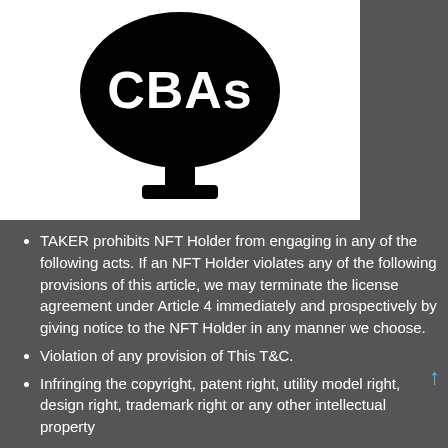[Figure (logo): Black logo on white background showing a speech bubble shape with 'CBAs' text inside and a trophy/ribbon shape below it]
TAKER prohibits NFT Holder from engaging in any of the following acts. If an NFT Holder violates any of the following provisions of this article, we may terminate the license agreement under Article 4 immediately and prospectively by giving notice to the NFT Holder in any manner we choose.
Violation of any provision of This T&C.
Infringing the copyright, patent right, utility model right, design right, trademark right or any other intellectual property